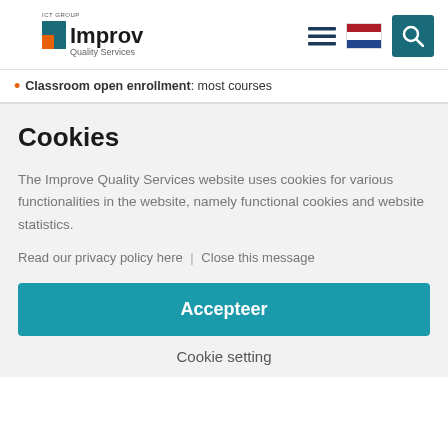[Figure (logo): ICT Group Improve Quality Services logo with orange and teal arrow graphic]
[Figure (infographic): Navigation icons: hamburger menu, Dutch flag, teal search button]
Classroom open enrollment: most courses
Cookies
The Improve Quality Services website uses cookies for various functionalities in the website, namely functional cookies and website statistics.
Read our privacy policy here | Close this message
Accepteer
Cookie setting